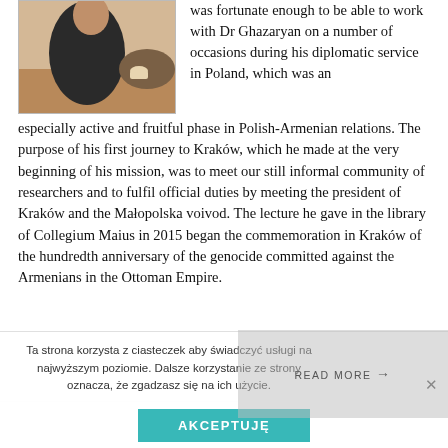[Figure (photo): Photo of a person seated at a table, partially visible, indoor setting with wooden table surface.]
was fortunate enough to be able to work with Dr Ghazaryan on a number of occasions during his diplomatic service in Poland, which was an especially active and fruitful phase in Polish-Armenian relations. The purpose of his first journey to Kraków, which he made at the very beginning of his mission, was to meet our still informal community of researchers and to fulfil official duties by meeting the president of Kraków and the Małopolska voivod. The lecture he gave in the library of Collegium Maius in 2015 began the commemoration in Kraków of the hundredth anniversary of the genocide committed against the Armenians in the Ottoman Empire.
Ta strona korzysta z ciasteczek aby świadczyć usługi na najwyższym poziomie. Dalsze korzystanie ze strony oznacza, że zgadzasz się na ich użycie.
READ MORE →
AKCEPTUJĘ